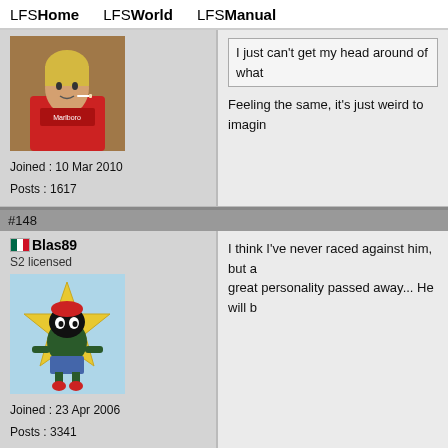LFSHome  LFSWorld  LFSManual
I just can't get my head around of what...
Feeling the same, it's just weird to imagin...
Joined : 10 Mar 2010
Posts : 1617
#148
Blas89
S2 licensed
Joined : 23 Apr 2006
Posts : 3341
I think I've never raced against him, but a great personality passed away... He will b...
#149
IsaacPrice
S3 licensed
Good to see other people are feeling the s...